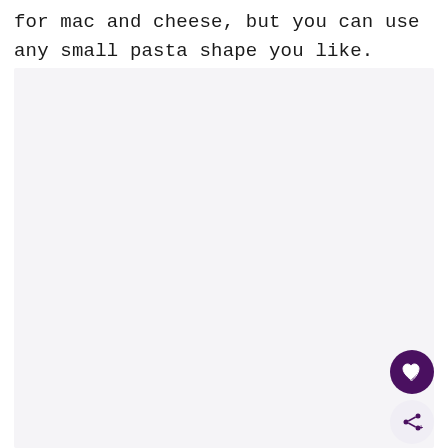for mac and cheese, but you can use any small pasta shape you like.
[Figure (photo): Large light gray/lavender placeholder image area filling most of the page below the text.]